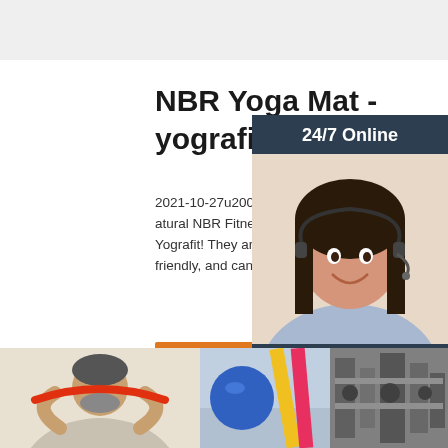NBR Yoga Mat - yografit.com
2021-10-27u2002·u2002Buy Extra Thick Natural NBR Fitness Yoga Mat in bulk from Yografit! They are cheap, environmentally friendly, and can be customized. Contact u
Get Price
[Figure (photo): Customer service representative woman with headset, smiling, on dark blue background with '24/7 Online' header, 'Click here for free chat!' text, and orange QUOTATION button]
Top
[Figure (photo): Man using red resistance band exercise]
[Figure (photo): Colorful yoga mats or resistance bands stacked]
[Figure (photo): Industrial or factory machinery]